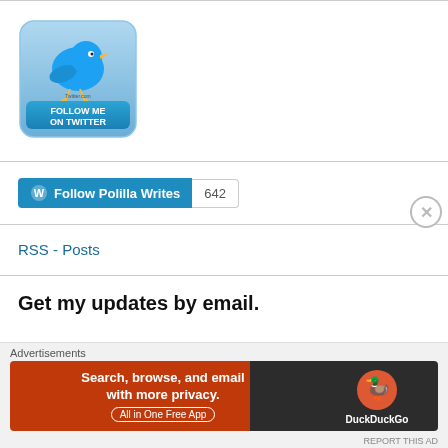[Figure (illustration): Twitter Follow Me button badge — blue bird on blue gradient background with text FOLLOW ME ON TWITTER]
[Figure (screenshot): WordPress Follow Polilla Writes button (blue) with follower count badge showing 642]
RSS - Posts
Get my updates by email.
Advertisements
[Figure (screenshot): DuckDuckGo advertisement banner: Search, browse, and email with more privacy. All in One Free App. DuckDuckGo logo on dark background.]